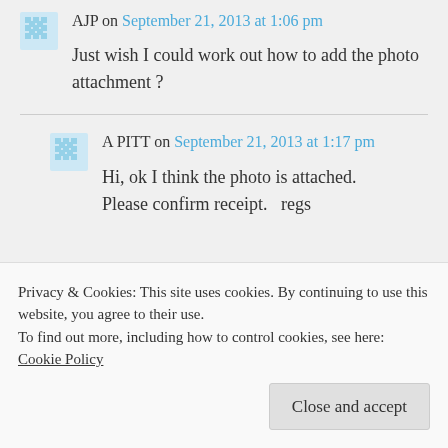AJP on September 21, 2013 at 1:06 pm
Just wish I could work out how to add the photo attachment ?
A PITT on September 21, 2013 at 1:17 pm
Hi, ok I think the photo is attached. Please confirm receipt.  regs
Privacy & Cookies: This site uses cookies. By continuing to use this website, you agree to their use.
To find out more, including how to control cookies, see here: Cookie Policy
Close and accept